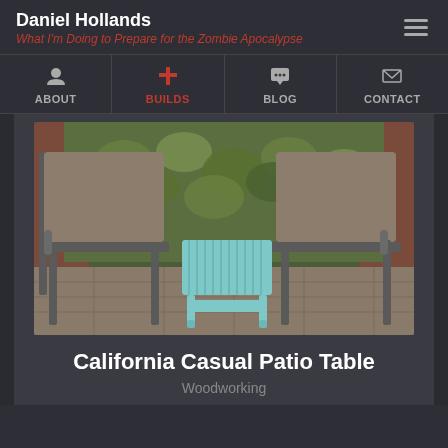Daniel Hollands
What I'm Doing to Prepare for the Zombie Apocalypse
ABOUT | BUILDS | BLOG | CONTACT
[Figure (photo): Two grey outdoor patio chairs flanking a light blue wooden side table, set on a stone patio in front of a brick wall covered in ivy/leaves.]
California Casual Patio Table
Woodworking